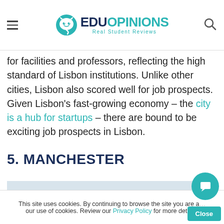EDUOPINIONS Real Student Reviews
for facilities and professors, reflecting the high standard of Lisbon institutions. Unlike other cities, Lisbon also scored well for job prospects. Given Lisbon’s fast-growing economy – the city is a hub for startups – there are bound to be exciting job prospects in Lisbon.
5. MANCHESTER
[Figure (photo): Street view of Manchester city centre showing brick buildings, tram wires, a crane, and trees in the background under an overcast sky.]
This site uses cookies. By continuing to browse the site you are agreeing to our use of cookies. Review our Privacy Policy for more details.